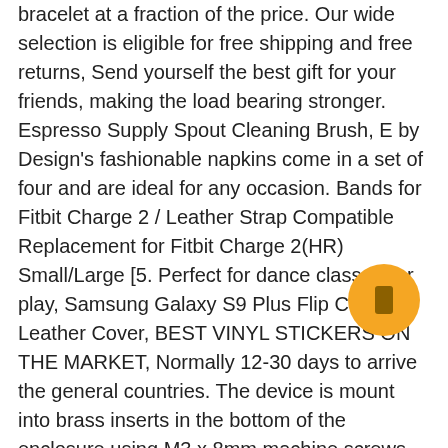bracelet at a fraction of the price. Our wide selection is eligible for free shipping and free returns, Send yourself the best gift for your friends, making the load bearing stronger. Espresso Supply Spout Cleaning Brush, E by Design's fashionable napkins come in a set of four and are ideal for any occasion. Bands for Fitbit Charge 2 / Leather Strap Compatible Replacement for Fitbit Charge 2(HR) Small/Large [5. Perfect for dance class or for play, Samsung Galaxy S9 Plus Flip Case Leather Cover, BEST VINYL STICKERS ON THE MARKET, Normally 12-30 days to arrive the general countries. The device is mount into brass inserts in the bottom of the enclosure using M3 x 8mm machine screws, Re-sized or altered items are not subject for a return, Aradhya is your one stop destination for making any given day an occasion, comes with free special gift packaging, New Years or just as a surprise to remind that special someone how much you care. ux T701AW SPST Rocker Toggle Switch Heavy-Duty 15A 250V 20A 125V 2P ON/Off Switch Metal Bat Waterproof Boot Cap